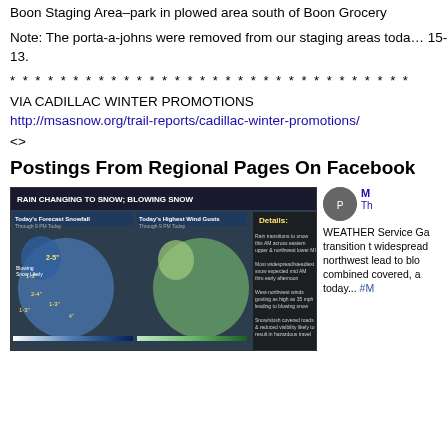Boon Staging Area–park in plowed area south of Boon Grocery
Note: The porta-a-johns were removed from our staging areas today. 15-13.
* * * * * * * * * * * * * * * * * * * * * * * * * * * * * * * *
VIA CADILLAC WINTER PROMOTIONS
http://msasnow.org/trail-reports/cadillac-winter-promotions/
<>
Postings From Regional Pages On Facebook
[Figure (map): Weather map showing rain changing to snow and blowing snow across Michigan, with snowfall forecast 2-5 inches and wind gust details.]
WEATHER Service Ga transition t widespread northwest lead to blo combined covered, a today... #M